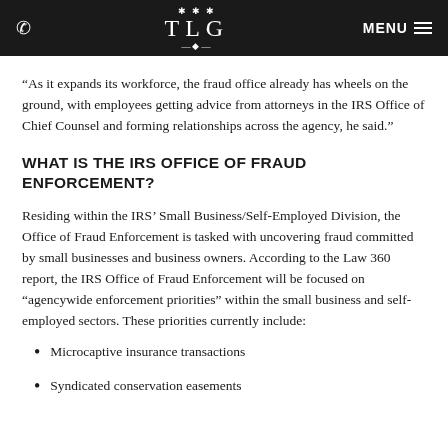TLG | MENU
“As it expands its workforce, the fraud office already has wheels on the ground, with employees getting advice from attorneys in the IRS Office of Chief Counsel and forming relationships across the agency, he said.”
WHAT IS THE IRS OFFICE OF FRAUD ENFORCEMENT?
Residing within the IRS’ Small Business/Self-Employed Division, the Office of Fraud Enforcement is tasked with uncovering fraud committed by small businesses and business owners. According to the Law 360 report, the IRS Office of Fraud Enforcement will be focused on “agencywide enforcement priorities” within the small business and self-employed sectors. These priorities currently include:
Microcaptive insurance transactions
Syndicated conservation easements